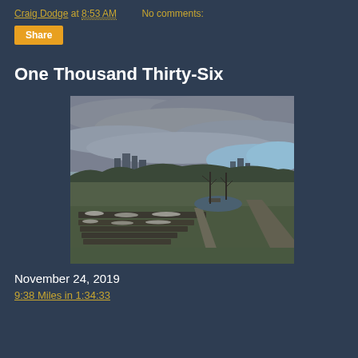Craig Dodge at 8:53 AM    No comments:
Share
One Thousand Thirty-Six
[Figure (photo): Outdoor park scene with city skyline in the background under a cloudy sky, with bare trees and a garden area in the foreground with light snow dusting, and a path leading into the distance.]
November 24, 2019
9:38 Miles in 1:34:33